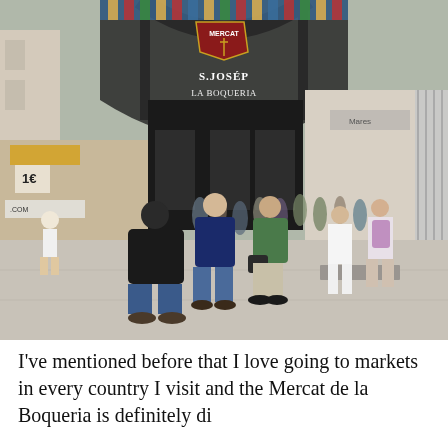[Figure (photo): Outdoor photo of the entrance to Mercat de Sant Josep de la Boqueria market in Barcelona. A large ornate arch with a shield/crest reading 'MERCAT ST JOSEP LA BOQUERIA' is visible. Crowds of tourists walk on the wide pedestrian street in front of the market entrance. Shops with colorful merchandise line the sides. Sunny daytime scene.]
I've mentioned before that I love going to markets in every country I visit and the Mercat de la Boqueria is definitely di...